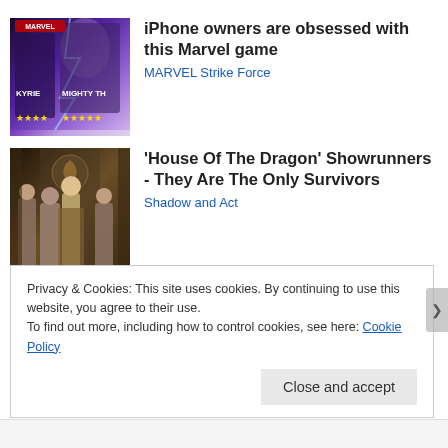[Figure (illustration): Marvel Strike Force game advertisement image with characters Kyrie and Mighty Thor with gold star ratings]
iPhone owners are obsessed with this Marvel game
MARVEL Strike Force
[Figure (photo): House of the Dragon scene with characters in medieval fantasy costumes on a throne]
'House Of The Dragon' Showrunners - They Are The Only Survivors
Shadow and Act
Privacy & Cookies: This site uses cookies. By continuing to use this website, you agree to their use.
To find out more, including how to control cookies, see here: Cookie Policy
Close and accept